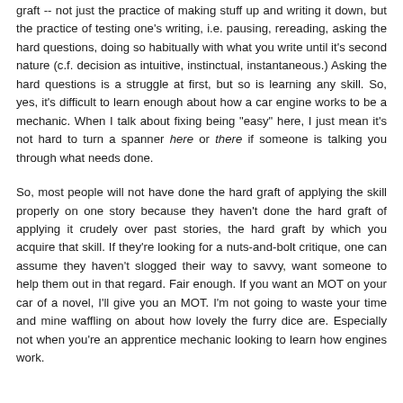graft -- not just the practice of making stuff up and writing it down, but the practice of testing one's writing, i.e. pausing, rereading, asking the hard questions, doing so habitually with what you write until it's second nature (c.f. decision as intuitive, instinctual, instantaneous.) Asking the hard questions is a struggle at first, but so is learning any skill. So, yes, it's difficult to learn enough about how a car engine works to be a mechanic. When I talk about fixing being "easy" here, I just mean it's not hard to turn a spanner here or there if someone is talking you through what needs done.
So, most people will not have done the hard graft of applying the skill properly on one story because they haven't done the hard graft of applying it crudely over past stories, the hard graft by which you acquire that skill. If they're looking for a nuts-and-bolt critique, one can assume they haven't slogged their way to savvy, want someone to help them out in that regard. Fair enough. If you want an MOT on your car of a novel, I'll give you an MOT. I'm not going to waste your time and mine waffling on about how lovely the furry dice are. Especially not when you're an apprentice mechanic looking to learn how engines work.